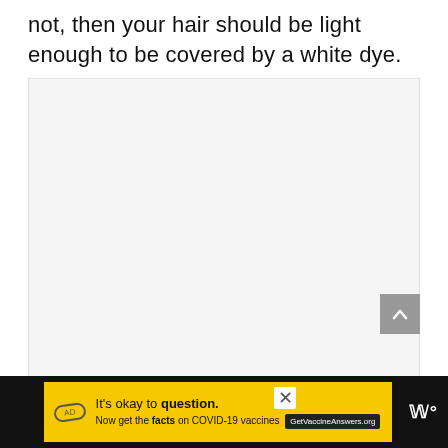not, then your hair should be light enough to be covered by a white dye.
[Figure (other): Large light gray rectangular image placeholder area]
[Figure (other): Scroll-to-top button: gray square with white upward chevron arrow]
Ad banner: It's okay to question. Now get the facts on COVID-19 vaccines. GetVaccineAnswers.org